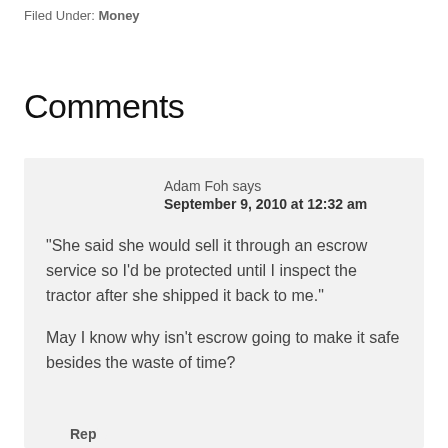Filed Under: Money
Comments
Adam Foh says
September 9, 2010 at 12:32 am

"She said she would sell it through an escrow service so I'd be protected until I inspect the tractor after she shipped it back to me."

May I know why isn't escrow going to make it safe besides the waste of time?